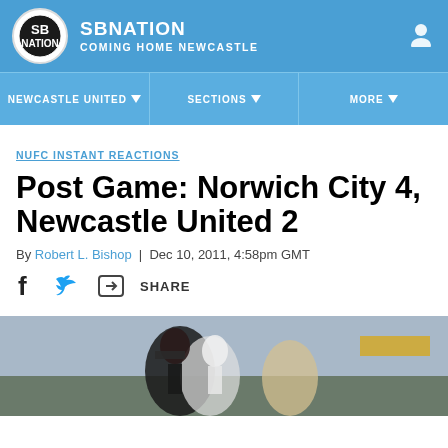SBNATION COMING HOME NEWCASTLE
NEWCASTLE UNITED | SECTIONS | MORE
NUFC INSTANT REACTIONS
Post Game: Norwich City 4, Newcastle United 2
By Robert L. Bishop | Dec 10, 2011, 4:58pm GMT
SHARE
[Figure (photo): Two football players, one in black and white Newcastle United strip, competing for the ball during a match]